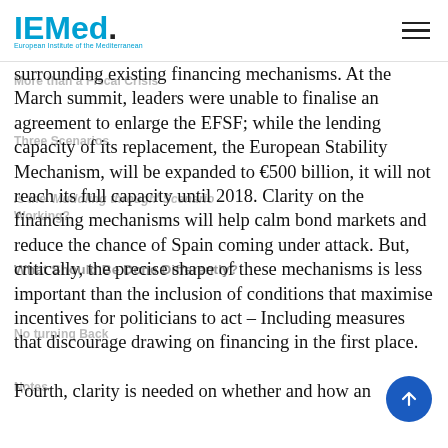IEMed. European Institute of the Mediterranean
surrounding existing financing mechanisms. At the March summit, leaders were unable to finalise an agreement to enlarge the EFSF; while the lending capacity of its replacement, the European Stability Mechanism, will be expanded to €500 billion, it will not reach its full capacity until 2018. Clarity on the financing mechanisms will help calm bond markets and reduce the chance of Spain coming under attack. But, critically, the precise shape of these mechanisms is less important than the inclusion of conditions that maximise incentives for politicians to act – Including measures that discourage drawing on financing in the first place.

Fourth, clarity is needed on whether and how an